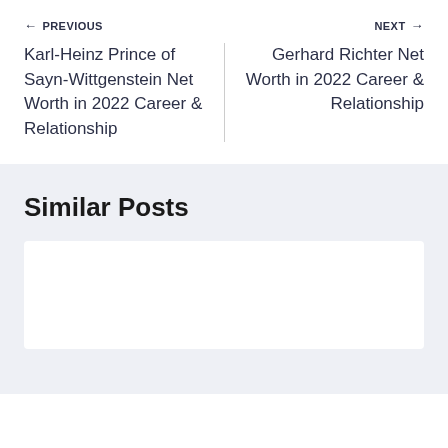← PREVIOUS
NEXT →
Karl-Heinz Prince of Sayn-Wittgenstein Net Worth in 2022 Career & Relationship
Gerhard Richter Net Worth in 2022 Career & Relationship
Similar Posts